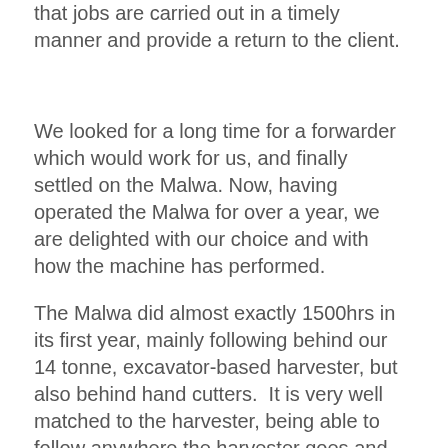that jobs are carried out in a timely manner and provide a return to the client.
We looked for a long time for a forwarder which would work for us, and finally settled on the Malwa. Now, having operated the Malwa for over a year, we are delighted with our choice and with how the machine has performed.
The Malwa did almost exactly 1500hrs in its first year, mainly following behind our 14 tonne, excavator-based harvester, but also behind hand cutters.  It is very well matched to the harvester, being able to follow anywhere the harvester goes and with productivity at a similar level.  In tight first thinnings with an extraction distance of over half a km the Malwa has been extracting 4-5 tonnes an hour. On a clear fell site, with a shorter extract, productivity